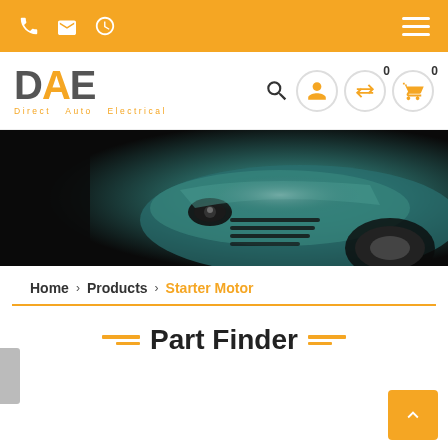Top navigation bar with phone, email, clock icons and hamburger menu
[Figure (logo): DAE Direct Auto Electrical logo with orange accent on A]
[Figure (photo): Dark hero image of a teal/green car front end with headlights]
Home > Products > Starter Motor
Part Finder